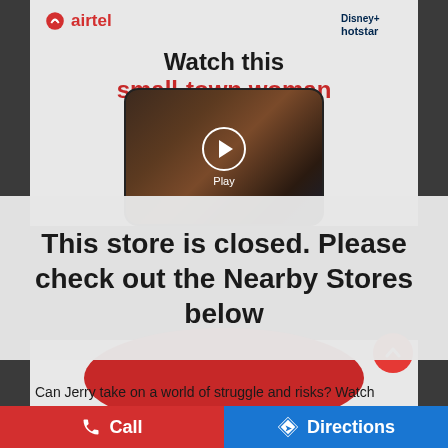[Figure (screenshot): Airtel advertisement featuring Disney+ Hotstar with text 'Watch this small-town woman' and a phone showing a video with play button overlay]
This store is closed. Please check out the Nearby Stores below
Can Jerry take on a world of struggle and risks? Watch
Call
Directions